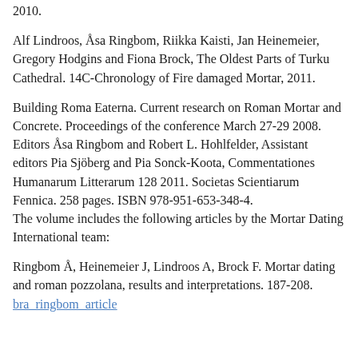2010.
Alf Lindroos, Åsa Ringbom, Riikka Kaisti, Jan Heinemeier, Gregory Hodgins and Fiona Brock, The Oldest Parts of Turku Cathedral. 14C-Chronology of Fire damaged Mortar, 2011.
Building Roma Eaterna. Current research on Roman Mortar and Concrete. Proceedings of the conference March 27-29 2008. Editors Åsa Ringbom and Robert L. Hohlfelder, Assistant editors Pia Sjöberg and Pia Sonck-Koota, Commentationes Humanarum Litterarum 128 2011. Societas Scientiarum Fennica. 258 pages. ISBN 978-951-653-348-4. The volume includes the following articles by the Mortar Dating International team:
Ringbom Å, Heinemeier J, Lindroos A, Brock F. Mortar dating and roman pozzolana, results and interpretations. 187-208. bra_ringbom_article